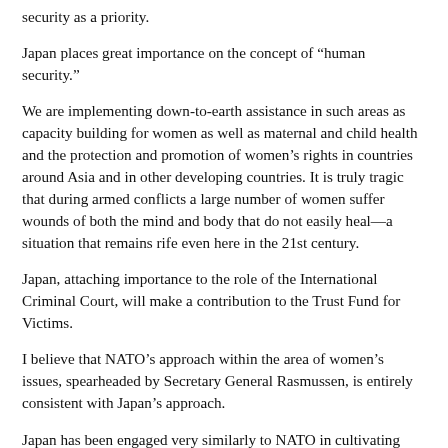security as a priority.
Japan places great importance on the concept of “human security.”
We are implementing down-to-earth assistance in such areas as capacity building for women as well as maternal and child health and the protection and promotion of women’s rights in countries around Asia and in other developing countries. It is truly tragic that during armed conflicts a large number of women suffer wounds of both the mind and body that do not easily heal—a situation that remains rife even here in the 21st century.
Japan, attaching importance to the role of the International Criminal Court, will make a contribution to the Trust Fund for Victims.
I believe that NATO’s approach within the area of women’s issues, spearheaded by Secretary General Rasmussen, is entirely consistent with Japan’s approach.
Japan has been engaged very similarly to NATO in cultivating Afghanistan’s female police officers. Together with their male colleagues, these women took the lead in maintaining law and order during the recent presidential election and have been engaged in many other efforts to foster an environment in which women can contribute to democratization with peace of mind. At